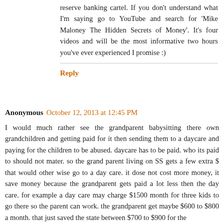reserve banking cartel. If you don't understand what I'm saying go to YouTube and search for 'Mike Maloney The Hidden Secrets of Money'. It's four videos and will be the most informative two hours you've ever experienced I promise :)
Reply
Anonymous  October 12, 2013 at 12:45 PM
I would much rather see the grandparent babysitting there own grandchildren and getting paid for it then sending them to a daycare and paying for the children to be abused. daycare has to be paid. who its paid to should not mater. so the grand parent living on SS gets a few extra $ that would other wise go to a day care. it dose not cost more money, it save money because the grandparent gets paid a lot less then the day care. for example a day care may charge $1500 month for three kids to go there so the parent can work. the grandparent get maybe $600 to $800 a month. that just saved the state between $700 to $900 for the